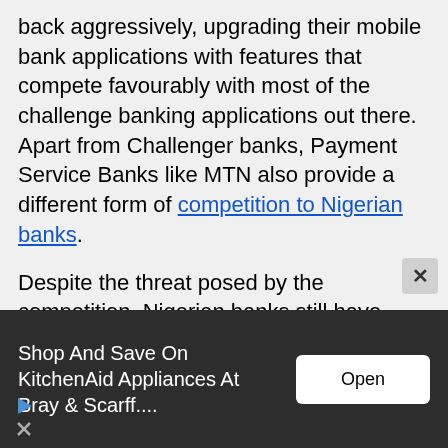back aggressively, upgrading their mobile bank applications with features that compete favourably with most of the challenge banking applications out there. Apart from Challenger banks, Payment Service Banks like MTN also provide a different form of competition to Nigerian banks.
Despite the threat posed by the competition, Nigerian banks still have significant headroom in terms of deposits and the ability to maintain their growth. While most newer banks focus on attracting younger account openers or newer businesses, traditional banks create a value chain
[Figure (other): Advertisement banner for KitchenAid appliances at Bray & Scarff with an Open button and close/play icons]